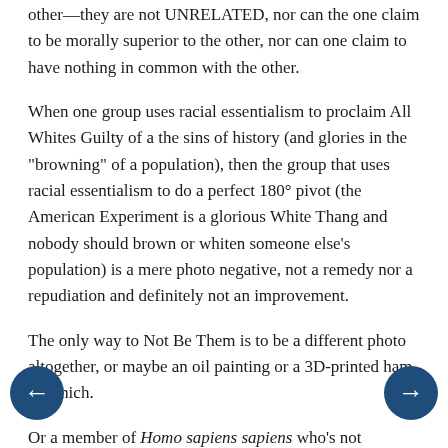other—they are not UNRELATED, nor can the one claim to be morally superior to the other, nor can one claim to have nothing in common with the other.
When one group uses racial essentialism to proclaim All Whites Guilty of a the sins of history (and glories in the "browning" of a population), then the group that uses racial essentialism to do a perfect 180° pivot (the American Experiment is a glorious White Thang and nobody should brown or whiten someone else's population) is a mere photo negative, not a remedy nor a repudiation and definitely not an improvement.
The only way to Not Be Them is to be a different photo altogether, or maybe an oil painting or a 3D-printed ham sammich.
Or a member of Homo sapiens sapiens who's not suffering from severe cranial/anal inversion.
-----